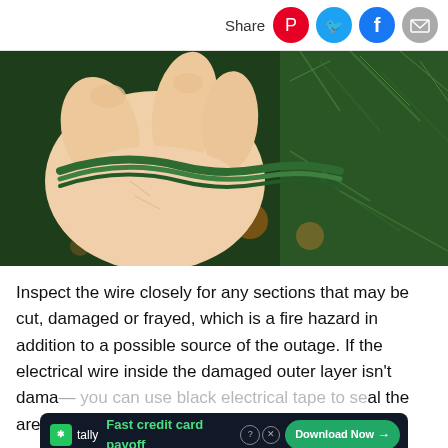Share
[Figure (photo): Close-up photo of a hand holding green electrical wire/string lights against a pine tree background with warm bokeh lights]
Inspect the wire closely for any sections that may be cut, damaged or frayed, which is a fire hazard in addition to a possible source of the outage. If the electrical wire inside the damaged outer layer isn't damaged, you can use black electrical tape to seal the area. If...ree is
[Figure (screenshot): Ad banner: Tally - Fast credit card payoff - Download Now button with close X button]